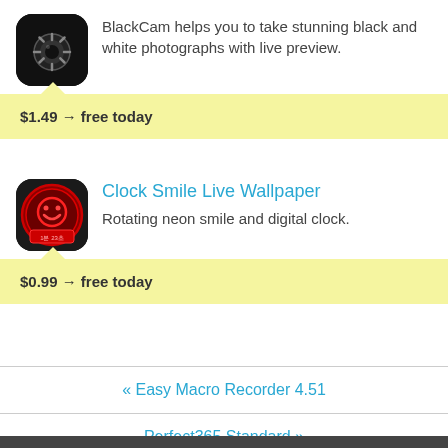[Figure (logo): BlackCam app icon - black circle with camera shutter on black square background]
BlackCam helps you to take stunning black and white photographs with live preview.
$1.49 → free today
[Figure (logo): Clock Smile Live Wallpaper app icon - red circular badge with neon smiley face]
Clock Smile Live Wallpaper
Rotating neon smile and digital clock.
$0.99 → free today
« Easy Macro Recorder 4.51
Perfect365 Standard »